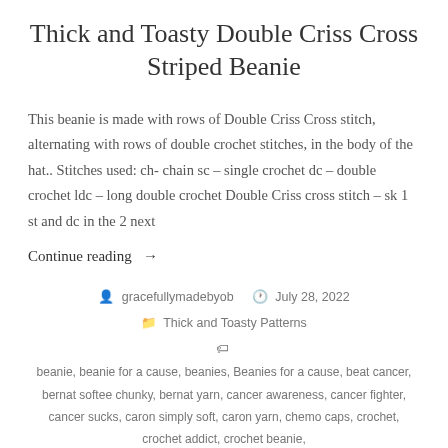Thick and Toasty Double Criss Cross Striped Beanie
This beanie is made with rows of Double Criss Cross stitch, alternating with rows of double crochet stitches, in the body of the hat.. Stitches used: ch- chain sc – single crochet dc – double crochet ldc – long double crochet Double Criss cross stitch – sk 1 st and dc in the 2 next
Continue reading →
gracefullymadebyob   July 28, 2022   Thick and Toasty Patterns
beanie, beanie for a cause, beanies, Beanies for a cause, beat cancer, bernat softee chunky, bernat yarn, cancer awareness, cancer fighter, cancer sucks, caron simply soft, caron yarn, chemo caps, crochet, crochet addict, crochet beanie,